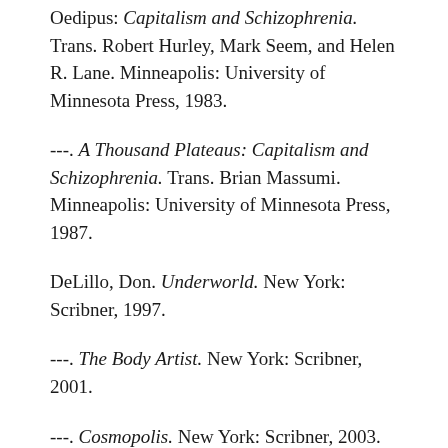Oedipus: Capitalism and Schizophrenia. Trans. Robert Hurley, Mark Seem, and Helen R. Lane. Minneapolis: University of Minnesota Press, 1983.
---. A Thousand Plateaus: Capitalism and Schizophrenia. Trans. Brian Massumi. Minneapolis: University of Minnesota Press, 1987.
DeLillo, Don. Underworld. New York: Scribner, 1997.
---. The Body Artist. New York: Scribner, 2001.
---. Cosmopolis. New York: Scribner, 2003.